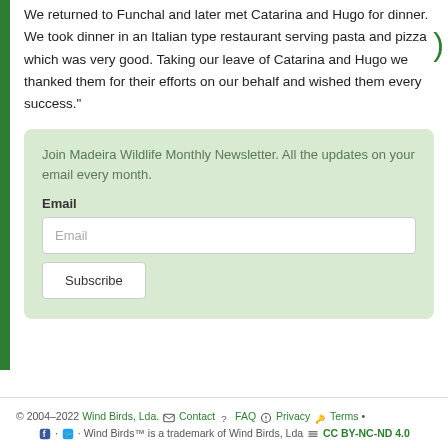We returned to Funchal and later met Catarina and Hugo for dinner. We took dinner in an Italian type restaurant serving pasta and pizza which was very good. Taking our leave of Catarina and Hugo we thanked them for their efforts on our behalf and wished them every success."
Join Madeira Wildlife Monthly Newsletter. All the updates on your email every month.
Email
Email (input field)
Subscribe
© 2004–2022 Wind Birds, Lda. Contact FAQ Privacy Terms • Wind Birds™ is a trademark of Wind Birds, Lda CC BY-NC-ND 4.0